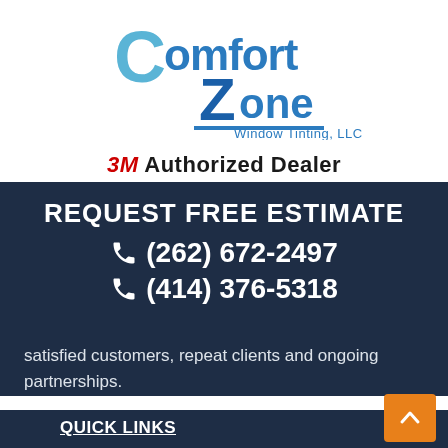[Figure (logo): Comfort Zone Window Tinting LLC logo with stylized C and Z letters in blue]
3M Authorized Dealer
REQUEST FREE ESTIMATE
☎ (262) 672-2497
☎ (414) 376-5318
satisfied customers, repeat clients and ongoing partnerships.
QUICK LINKS